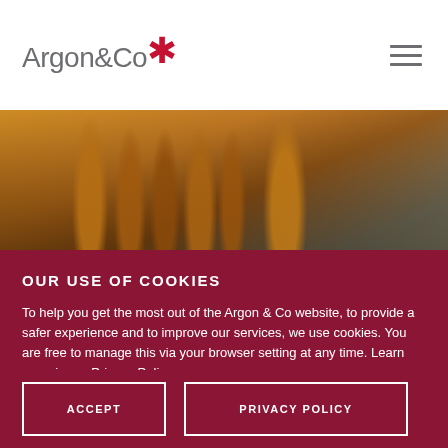Argon&Co
[Figure (photo): Close-up of amber glass bottles/vials in a laboratory or pharmaceutical setting, warm amber tones with blurred blue background]
Make-or-break: the importance
OUR USE OF COOKIES
To help you get the most out of the Argon & Co website, to provide a safer experience and to improve our services, we use cookies. You are free to manage this via your browser setting at any time. Learn more in our Privacy Policy.
ACCEPT
PRIVACY POLICY